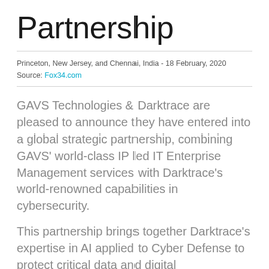Partnership
Princeton, New Jersey, and Chennai, India - 18 February, 2020
Source: Fox34.com
GAVS Technologies & Darktrace are pleased to announce they have entered into a global strategic partnership, combining GAVS' world-class IP led IT Enterprise Management services with Darktrace's world-renowned capabilities in cybersecurity.
This partnership brings together Darktrace's expertise in AI applied to Cyber Defense to protect critical data and digital infrastructures, and GAVS'